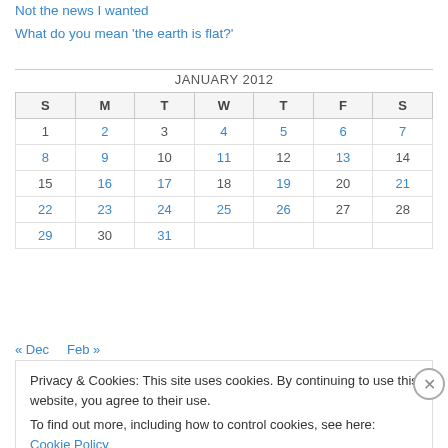Not the news I wanted
What do you mean 'the earth is flat?'
| S | M | T | W | T | F | S |
| --- | --- | --- | --- | --- | --- | --- |
| 1 | 2 | 3 | 4 | 5 | 6 | 7 |
| 8 | 9 | 10 | 11 | 12 | 13 | 14 |
| 15 | 16 | 17 | 18 | 19 | 20 | 21 |
| 22 | 23 | 24 | 25 | 26 | 27 | 28 |
| 29 | 30 | 31 |  |  |  |  |
« Dec   Feb »
Privacy & Cookies: This site uses cookies. By continuing to use this website, you agree to their use. To find out more, including how to control cookies, see here: Cookie Policy
Close and accept